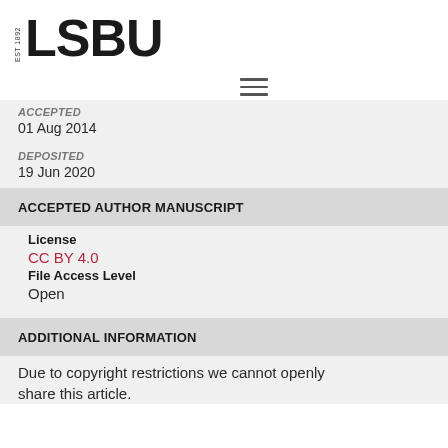[Figure (logo): LSBU logo with EST 1892 text in vertical orientation beside large bold LSBU text]
[Figure (other): Hamburger menu icon with three horizontal lines]
ACCEPTED
01 Aug 2014
DEPOSITED
19 Jun 2020
ACCEPTED AUTHOR MANUSCRIPT
License
CC BY 4.0
File Access Level
Open
ADDITIONAL INFORMATION
Due to copyright restrictions we cannot openly share this article.